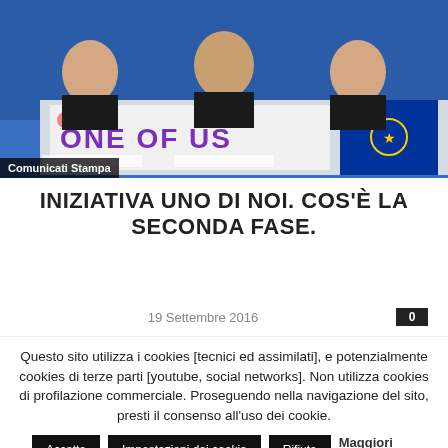[Figure (photo): Three men in suits seated at a conference table with a blue backdrop and a banner reading 'ONE OF US' with colorful figures; European Parliament logo visible on right.]
Comunicati Stampa
INIZIATIVA UNO DI NOI. COS'È LA SECONDA FASE.
19 Settembre 2016
Questo sito utilizza i cookies [tecnici ed assimilati], e potenzialmente cookies di terze parti [youtube, social networks]. Non utilizza cookies di profilazione commerciale. Proseguendo nella navigazione del sito, presti il consenso all'uso dei cookie.
Accetto | Impostazioni dei cookie | Rifiuta | Maggiori informazioni